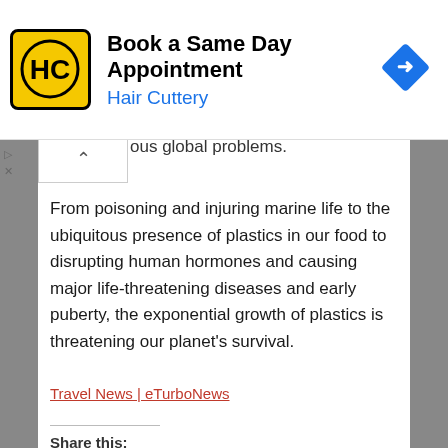[Figure (other): Hair Cuttery advertisement banner: HC logo in yellow square, 'Book a Same Day Appointment' heading, 'Hair Cuttery' subheading in blue, blue diamond navigation icon on right]
ous global problems.
From poisoning and injuring marine life to the ubiquitous presence of plastics in our food to disrupting human hormones and causing major life-threatening diseases and early puberty, the exponential growth of plastics is threatening our planet's survival.
Travel News | eTurboNews
Share this:
FILED UNDER: PRESS RELEASE
TAGGED WITH: AMERICAN TRAVEL NEWS, AMERICANS, AMP